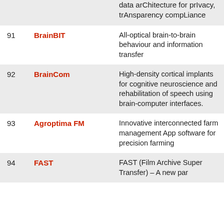| # | Name | Description |
| --- | --- | --- |
|  |  | data arChitecture for prIvacy, trAnsparency compLiance |
| 91 | BrainBIT | All-optical brain-to-brain behaviour and information transfer |
| 92 | BrainCom | High-density cortical implants for cognitive neuroscience and rehabilitation of speech using brain-computer interfaces. |
| 93 | Agroptima FM | Innovative interconnected farm management App software for precision farming |
| 94 | FAST | FAST (Film Archive Super Transfer) – A new par... |